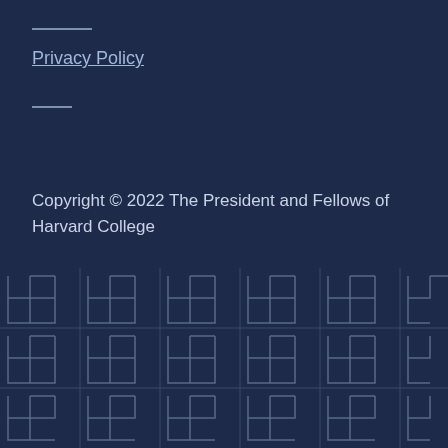Privacy Policy
Copyright © 2022 The President and Fellows of Harvard College
[Figure (illustration): Repeating geometric maze/labyrinth pattern in light blue-grey lines on dark navy background, arranged in a grid of interlocking S-shaped and angular forms.]